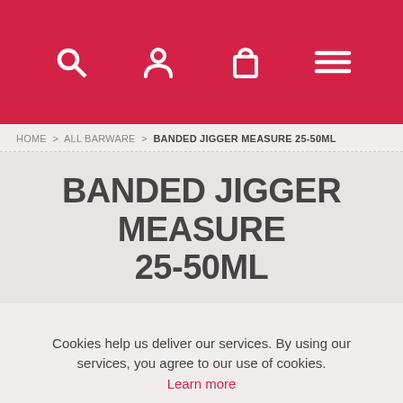[Figure (screenshot): Red navigation header bar with white icons: search (magnifying glass), user (person), shopping bag, and hamburger menu]
HOME > ALL BARWARE > BANDED JIGGER MEASURE 25-50ML
BANDED JIGGER MEASURE 25-50ML
Cookies help us deliver our services. By using our services, you agree to our use of cookies. Learn more
OK